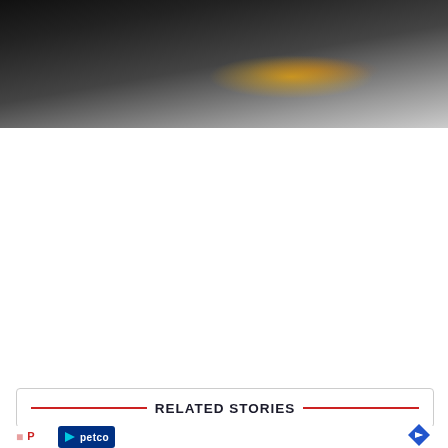[Figure (photo): Dark automotive photograph, partially visible, showing undercarriage or mechanical parts of a vehicle with orange/yellow highlight at center-right, blurred motion effect]
RELATED STORIES
[Figure (logo): Petco advertisement banner with blue Petco logo and play triangle icon on the left, and a blue navigation/directions diamond-shaped icon on the right]
P... (S...